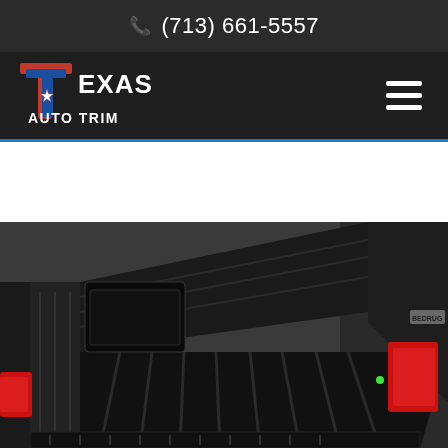📞 (713) 661-5557
[Figure (logo): Texas Auto Trim logo with stylized TT letters, Texas star, and blue/red/white color scheme]
[Figure (photo): Photograph of a black pickup truck bed liner / bed rug installed in a dark colored truck, showing the truck bed from an angle with red tail lights visible]